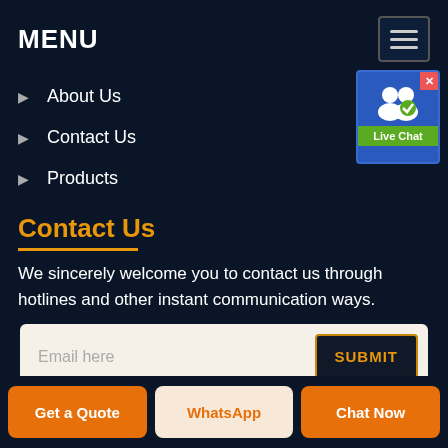MENU
About Us
Contact Us
Products
Contact Us
We sincerely welcome you to contact us through hotlines and other instant communication ways.
Email here
SUBMIT
Get a Quote
WhatsApp
Chat Now